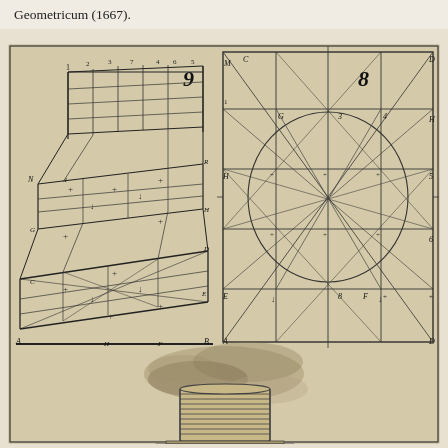Geometricum (1667).
[Figure (engineering-diagram): Two geometric perspective diagrams (labeled 9 and 8) showing 3D grid/lattice constructions with lettered points (A, B, C, D, E, F, G, H, M, N, R and numbered points). Diagram 9 on the left shows a three-level receding cubic grid in perspective. Diagram 8 on the right shows a flat grid with diagonal lines and an inscribed circle with crossing diagonals. Below these diagrams is an illustration of what appears to be a cylindrical mechanical device or instrument with horizontal slats/louvers, placed on a stepped base, with a cloudy or smoky background.]